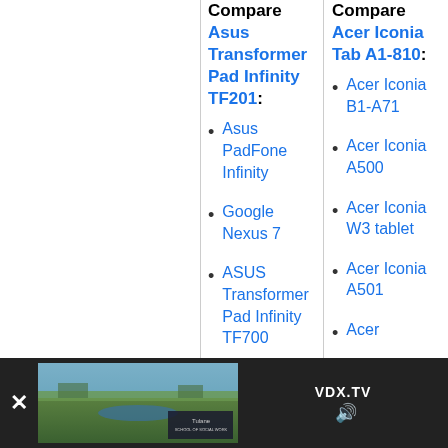Compare Asus Transformer Pad Infinity TF201:
Asus PadFone Infinity
Google Nexus 7
ASUS Transformer Pad Infinity TF700
Asus FonePad
Compare Acer Iconia Tab A1-810:
Acer Iconia B1-A71
Acer Iconia A500
Acer Iconia W3 tablet
Acer Iconia A501
Acer
[Figure (photo): Advertisement banner at bottom of page showing a landscape aerial photo with Tulane University School of Social Work logo and VDX.TV branding]